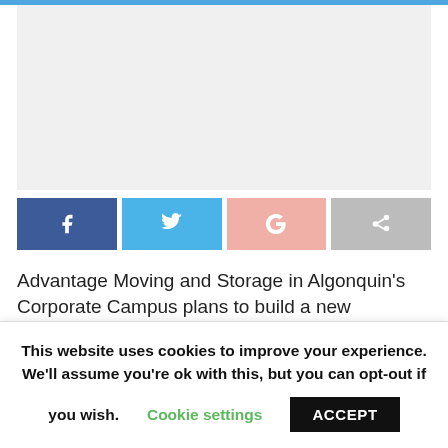[Figure (photo): Large image placeholder with light gray background, likely a photo related to the article about Advantage Moving and Storage]
[Figure (infographic): Row of four social sharing buttons: Facebook (dark blue), Twitter (light blue), Google+ (pink/salmon), Share (gray), each with white icons]
Advantage Moving and Storage in Algonquin’s Corporate Campus plans to build a new warehouse space on property they recently bought adjacent to
This website uses cookies to improve your experience. We’ll assume you’re ok with this, but you can opt-out if you wish. Cookie settings ACCEPT